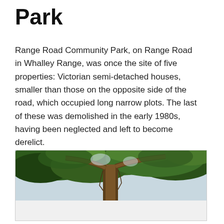Park
Range Road Community Park, on Range Road in Whalley Range, was once the site of five properties: Victorian semi-detached houses, smaller than those on the opposite side of the road, which occupied long narrow plots. The last of these was demolished in the early 1980s, having been neglected and left to become derelict.
[Figure (photo): Photograph of a large tree with a thick trunk viewed from below, with branches spreading across the frame against a light sky, surrounded by green foliage]